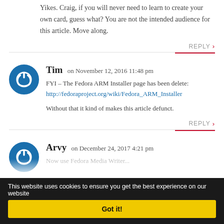Yikes. Craig, if you will never need to learn to create your own card, guess what? You are not the intended audience for this article. Move along.
REPLY >
Tim on November 12, 2016 11:48 pm
FYI – The Fedora ARM Installer page has been delete: http://fedoraproject.org/wiki/Fedora_ARM_Installer
Without that it kind of makes this article defunct.
REPLY >
Arvy on December 24, 2017 4:21 pm
Now use Fedora Media Writer...
This website uses cookies to ensure you get the best experience on our website
Got it!